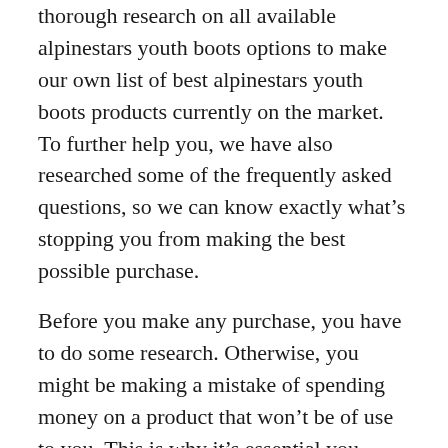thorough research on all available alpinestars youth boots options to make our own list of best alpinestars youth boots products currently on the market. To further help you, we have also researched some of the frequently asked questions, so we can know exactly what's stopping you from making the best possible purchase.
Before you make any purchase, you have to do some research. Otherwise, you might be making a mistake of spending money on a product that won't be of use to you. This is why it's essential you answer some questions to yourself before you press that 'add to cart' button. These questions include, but are not limited to:
Will this alpinestars youth boots be worth my money?